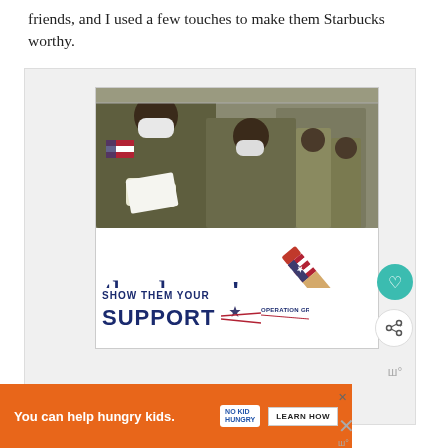friends, and I used a few touches to make them Starbucks worthy.
[Figure (illustration): Advertisement for Operation Gratitude showing soldiers in military uniform wearing masks, with a handwritten 'thank you!' text and a patriotic pencil graphic, and 'SHOW THEM YOUR SUPPORT OPERATION GRATITUDE' text below.]
[Figure (illustration): Banner advertisement: 'You can help hungry kids.' with No Kid Hungry logo and a LEARN HOW button, on an orange background.]